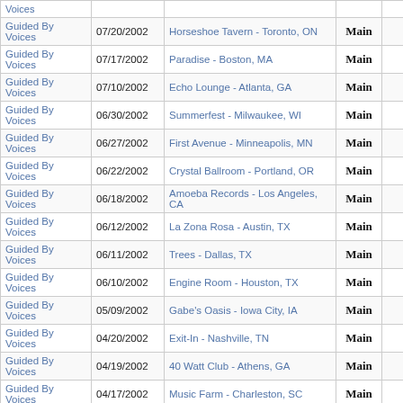| Artist | Date | Venue | Set |  |  |
| --- | --- | --- | --- | --- | --- |
| Guided By Voices |  |  |  |  |  |
| Guided By Voices | 07/20/2002 | Horseshoe Tavern - Toronto, ON | Main |  |  |
| Guided By Voices | 07/17/2002 | Paradise - Boston, MA | Main |  |  |
| Guided By Voices | 07/10/2002 | Echo Lounge - Atlanta, GA | Main |  |  |
| Guided By Voices | 06/30/2002 | Summerfest - Milwaukee, WI | Main |  |  |
| Guided By Voices | 06/27/2002 | First Avenue - Minneapolis, MN | Main |  |  |
| Guided By Voices | 06/22/2002 | Crystal Ballroom - Portland, OR | Main |  |  |
| Guided By Voices | 06/18/2002 | Amoeba Records - Los Angeles, CA | Main |  |  |
| Guided By Voices | 06/12/2002 | La Zona Rosa - Austin, TX | Main |  |  |
| Guided By Voices | 06/11/2002 | Trees - Dallas, TX | Main |  |  |
| Guided By Voices | 06/10/2002 | Engine Room - Houston, TX | Main |  |  |
| Guided By Voices | 05/09/2002 | Gabe's Oasis - Iowa City, IA | Main |  |  |
| Guided By Voices | 04/20/2002 | Exit-In - Nashville, TN | Main |  |  |
| Guided By Voices | 04/19/2002 | 40 Watt Club - Athens, GA | Main |  |  |
| Guided By Voices | 04/17/2002 | Music Farm - Charleston, SC | Main |  |  |
| Guided By Voices | 04/16/2002 | Cat's Cradle - Carrboro, NC | Main |  |  |
| Guided By Voices | 04/11/2002 | Chameleon Club - Lancaster, PA | Main |  |  |